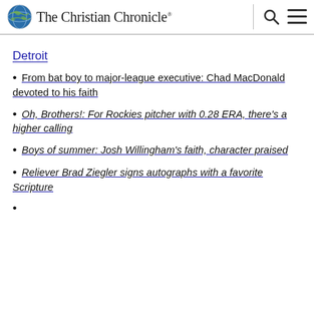The Christian Chronicle
Detroit
From bat boy to major-league executive: Chad MacDonald devoted to his faith
Oh, Brothers!: For Rockies pitcher with 0.28 ERA, there's a higher calling
Boys of summer: Josh Willingham's faith, character praised
Reliever Brad Ziegler signs autographs with a favorite Scripture